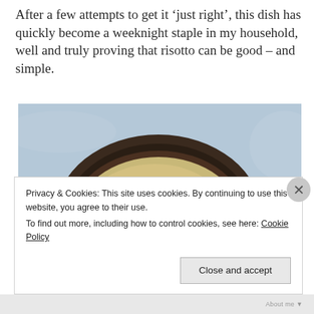After a few attempts to get it ‘just right’, this dish has quickly become a weeknight staple in my household, well and truly proving that risotto can be good – and simple.
[Figure (photo): Overhead view of a bowl of risotto with vegetables (greens and orange pieces) in a dark brown ceramic bowl with a spoon, on a light marble surface.]
Privacy & Cookies: This site uses cookies. By continuing to use this website, you agree to their use.
To find out more, including how to control cookies, see here: Cookie Policy
Close and accept